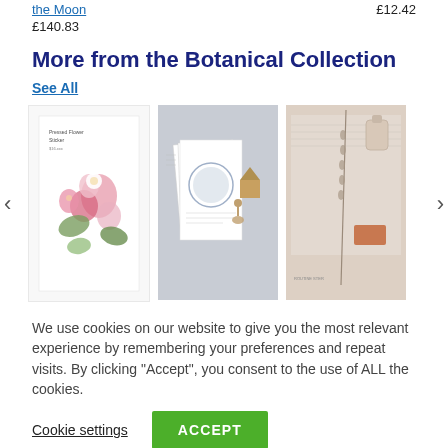the Moon £12.42
£140.83
More from the Botanical Collection
See All
[Figure (photo): Carousel of three botanical product images: pressed flower stickers, a moon-themed stationery set, and a botanical lifestyle flat lay]
We use cookies on our website to give you the most relevant experience by remembering your preferences and repeat visits. By clicking "Accept", you consent to the use of ALL the cookies.
Cookie settings   ACCEPT